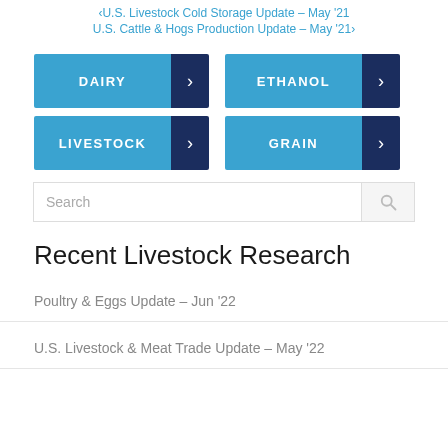U.S. Livestock Cold Storage Update – May '21
U.S. Cattle & Hogs Production Update – May '21
[Figure (infographic): Four category navigation buttons arranged in a 2x2 grid: DAIRY (light blue with dark navy arrow), ETHANOL (light blue with dark navy arrow), LIVESTOCK (light blue with dark navy arrow), GRAIN (light blue with dark navy arrow)]
Search
Recent Livestock Research
Poultry & Eggs Update – Jun '22
U.S. Livestock & Meat Trade Update – May '22